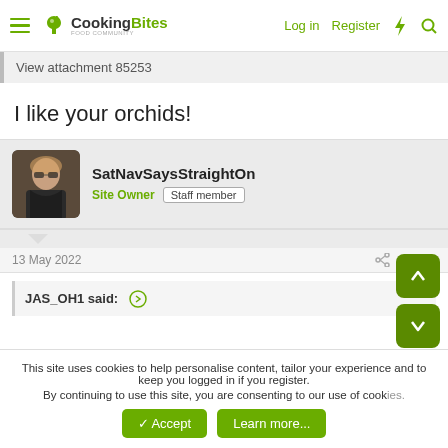CookingBites | Log in | Register
View attachment 85253
I like your orchids!
SatNavSaysStraightOn
Site Owner  Staff member
13 May 2022  #2,092
JAS_OH1 said:
This site uses cookies to help personalise content, tailor your experience and to keep you logged in if you register.
By continuing to use this site, you are consenting to our use of cookies.